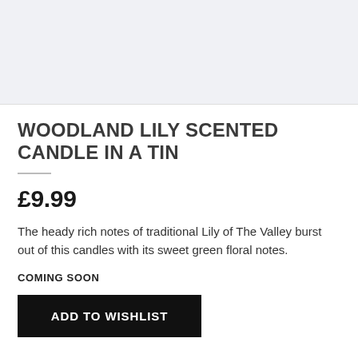[Figure (photo): Product image placeholder area with light grey background]
WOODLAND LILY SCENTED CANDLE IN A TIN
£9.99
The heady rich notes of traditional Lily of The Valley burst out of this candles with its sweet green floral notes.
COMING SOON
ADD TO WISHLIST